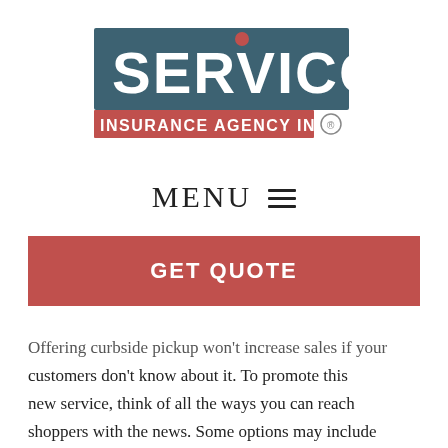[Figure (logo): Servico Insurance Agency Inc. logo — dark teal rectangle with white bold 'SERVICO' text and a red dot above the 'i', below it a red rectangle with white 'INSURANCE AGENCY INC.' text, followed by a registered trademark symbol.]
MENU ☰
GET QUOTE
Offering curbside pickup won't increase sales if your customers don't know about it. To promote this new service, think of all the ways you can reach shoppers with the news. Some options may include